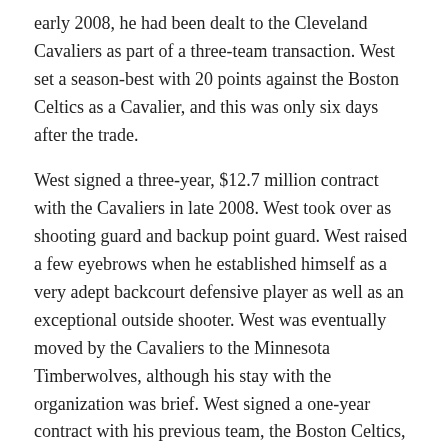early 2008, he had been dealt to the Cleveland Cavaliers as part of a three-team transaction. West set a season-best with 20 points against the Boston Celtics as a Cavalier, and this was only six days after the trade.
West signed a three-year, $12.7 million contract with the Cavaliers in late 2008. West took over as shooting guard and backup point guard. West raised a few eyebrows when he established himself as a very adept backcourt defensive player as well as an exceptional outside shooter. West was eventually moved by the Cavaliers to the Minnesota Timberwolves, although his stay with the organization was brief. West signed a one-year contract with his previous team, the Boston Celtics, to back up Rajon Rondo as a point guard in late 2010. Following a guilty plea to firearms charges, the communication came to an abrupt stop. From 2011 to 2012, Delonte played for the Dallas Mavericks. He then played for a few years in Europe.